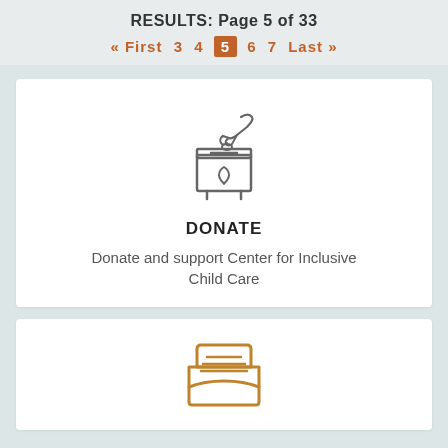RESULTS: Page 5 of 33
« First  3  4  5  6  7  Last »
[Figure (illustration): Line-art icon of a hand dropping something into a donation box with a heart on it]
DONATE
Donate and support Center for Inclusive Child Care
[Figure (illustration): Orange line-art icon of a document tray or inbox with lines representing papers]